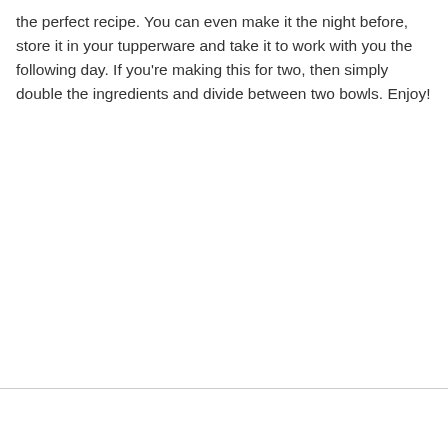the perfect recipe. You can even make it the night before, store it in your tupperware and take it to work with you the following day. If you're making this for two, then simply double the ingredients and divide between two bowls. Enjoy!